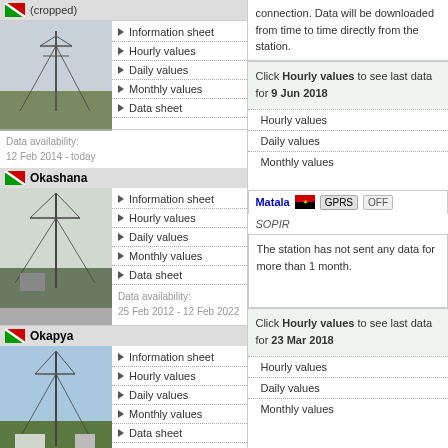Okashana
Information sheet
Hourly values
Daily values
Monthly values
Data sheet
Data availability:
25 Feb 2012 - 12 Feb 2022
Okapya
Information sheet
Hourly values
Daily values
Monthly values
Data sheet
Data availability:
25 Feb 2012 - today
connection. Data will be downloaded from time to time directly from the station.
Click Hourly values to see last data for 9 Jun 2018
Hourly values
Daily values
Monthly values
Matala GPRS OFF
SOPIR
The station has not sent any data for more than 1 month.
Click Hourly values to see last data for 23 Mar 2018
Hourly values
Daily values
Monthly values